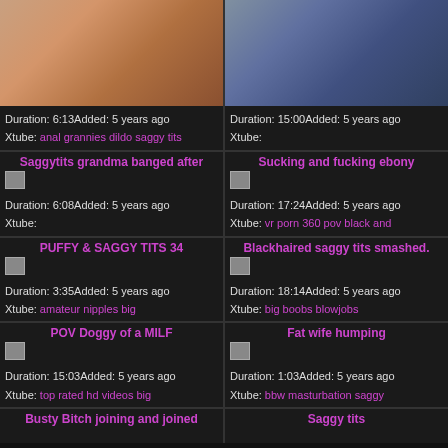[Figure (photo): Thumbnail image top left - adult content]
Duration: 6:13Added: 5 years ago
Xtube: anal grannies dildo saggy tits
[Figure (photo): Thumbnail image top right - adult content]
Duration: 15:00Added: 5 years ago
Xtube:
Saggytits grandma banged after
Duration: 6:08Added: 5 years ago
Xtube:
Sucking and fucking ebony
Duration: 17:24Added: 5 years ago
Xtube: vr porn 360 pov black and
PUFFY & SAGGY TITS 34
Duration: 3:35Added: 5 years ago
Xtube: amateur nipples big
Blackhaired saggy tits smashed.
Duration: 18:14Added: 5 years ago
Xtube: big boobs blowjobs
POV Doggy of a MILF
Duration: 15:03Added: 5 years ago
Xtube: top rated hd videos big
Fat wife humping
Duration: 1:03Added: 5 years ago
Xtube: bbw masturbation saggy
Busty Bitch joining and joined
Saggy tits